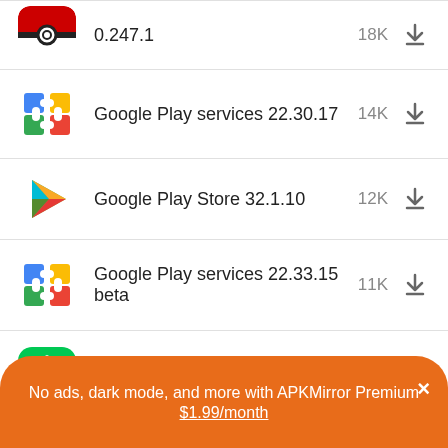Pokémon GO (Samsung Galaxy Store) 0.247.1 — 18K
Google Play services 22.30.17 — 14K
Google Play Store 32.1.10 — 12K
Google Play services 22.33.15 beta — 11K
Xiaomi Security 7.1.4-220826.0.1 — 10K
Google Play Store 32.1.12 — 8.5K
No ads, dark mode, and more with APKMirror Premium × $1.99/month